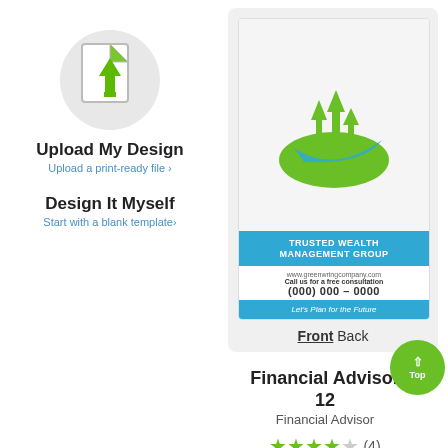[Figure (illustration): Upload file icon: document with green upward arrow, inside a gray circle]
Upload My Design
Upload a print-ready file ›
Design It Myself
Start with a blank template›
[Figure (illustration): Business card template preview for 'Trusted Wealth Management Group' with green arrows logo, blue bands, phone (000) 000-0000, website www.greenwringcompany.com, tagline 'Let's Plan for the Future']
Front Back
Financial Advisor 12
Financial Advisor
★★★★☆ (4)